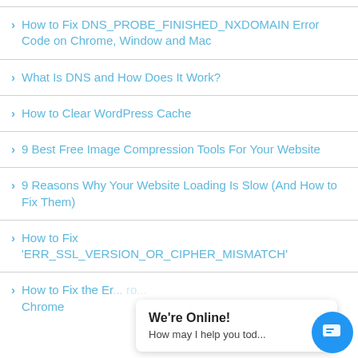How to Fix DNS_PROBE_FINISHED_NXDOMAIN Error Code on Chrome, Window and Mac
What Is DNS and How Does It Work?
How to Clear WordPress Cache
9 Best Free Image Compression Tools For Your Website
9 Reasons Why Your Website Loading Is Slow (And How to Fix Them)
How to Fix 'ERR_SSL_VERSION_OR_CIPHER_MISMATCH'
How to Fix the Er... ro... Chrome